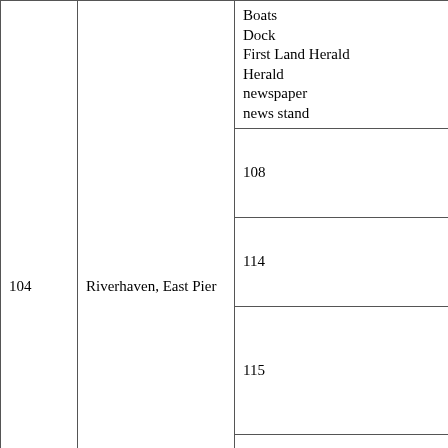| # | Location | Contents/Notes |
| --- | --- | --- |
| 104 | Riverhaven, East Pier | Boats
Dock
First Land Herald
Herald
newspaper
news stand |
| 108 | Aldamus Guesthouse, Dining Room | Aldamus Dining Room |
| 114 | Riverhaven, A Garden Path | War Mage Guild |
| 115 | Warrior Mage Guild, Entrance Hall | GL Warrior Mage
GL WM
Karazhil |
| 125 | Temple, Garden | Temple
almsbox
Sirese |
| 126 | Temple, Garden | Pool of water |
| 132 | Temple, Dark Shrine | Shrine2-02
Harawep |
| 133 | Temple, Shrine | Shrine2-01
Divyaush |
| 136 | Traders' Guild, Caravan Stable | Caravan Stable |